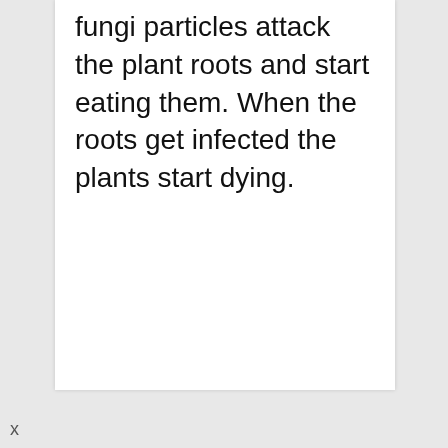fungi particles attack the plant roots and start eating them. When the roots get infected the plants start dying.